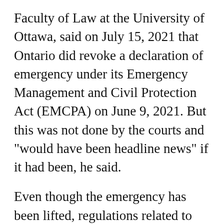Faculty of Law at the University of Ottawa, said on July 15, 2021 that Ontario did revoke a declaration of emergency under its Emergency Management and Civil Protection Act (EMCPA) on June 9, 2021. But this was not done by the courts and "would have been headline news" if it had been, he said.
Even though the emergency has been lifted, regulations related to the pandemic are enforceable under the Reopening Ontario (A Flexible Response to COVID-19) Act.
"The revocation of the declaration of